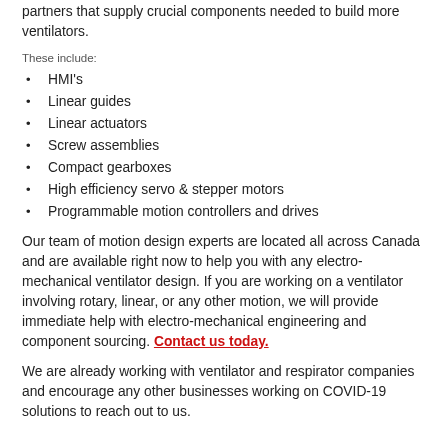partners that supply crucial components needed to build more ventilators.
These include:
HMI's
Linear guides
Linear actuators
Screw assemblies
Compact gearboxes
High efficiency servo & stepper motors
Programmable motion controllers and drives
Our team of motion design experts are located all across Canada and are available right now to help you with any electro-mechanical ventilator design. If you are working on a ventilator involving rotary, linear, or any other motion, we will provide immediate help with electro-mechanical engineering and component sourcing. Contact us today.
We are already working with ventilator and respirator companies and encourage any other businesses working on COVID-19 solutions to reach out to us.